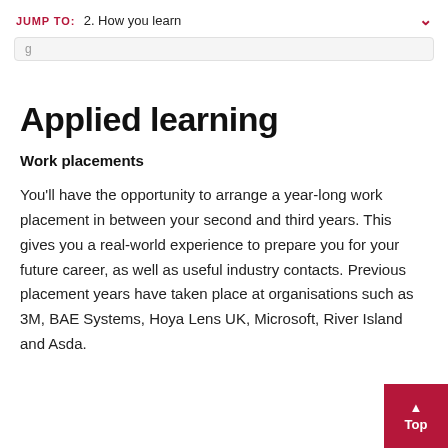JUMP TO: 2. How you learn
Applied learning
Work placements
You'll have the opportunity to arrange a year-long work placement in between your second and third years. This gives you a real-world experience to prepare you for your future career, as well as useful industry contacts. Previous placement years have taken place at organisations such as 3M, BAE Systems, Hoya Lens UK, Microsoft, River Island and Asda.